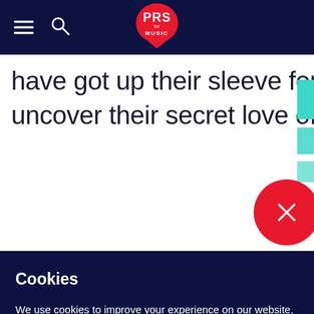[Figure (logo): PRS for Music logo - red teardrop/pick shape with white text PRS for MUSIC]
have got up their sleeve for the rest of 2013 & uncover their secret love of medieval folk
Cookies
We use cookies to improve your experience on our website, assess how you use our website and for website security purposes. By continuing to navigate this website, we'll assume you agree to this. Read more about what cookies do and how to adjust your settings here.